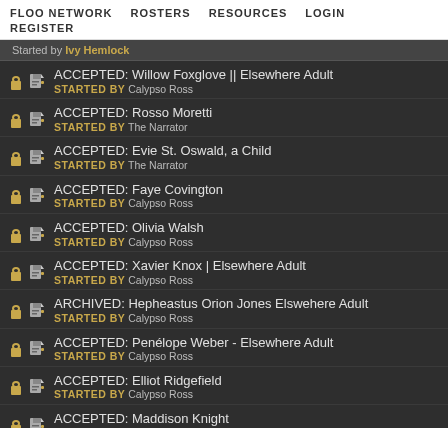FLOO NETWORK   ROSTERS   RESOURCES   LOGIN   REGISTER
Started by Ivy Hemlock
ACCEPTED: Willow Foxglove || Elsewhere Adult
STARTED BY Calypso Ross
ACCEPTED: Rosso Moretti
STARTED BY The Narrator
ACCEPTED: Evie St. Oswald, a Child
STARTED BY The Narrator
ACCEPTED: Faye Covington
STARTED BY Calypso Ross
ACCEPTED: Olivia Walsh
STARTED BY Calypso Ross
ACCEPTED: Xavier Knox | Elsewhere Adult
STARTED BY Calypso Ross
ARCHIVED: Hepheastus Orion Jones Elswehere Adult
STARTED BY Calypso Ross
ACCEPTED: Penélope Weber - Elsewhere Adult
STARTED BY Calypso Ross
ACCEPTED: Elliot Ridgefield
STARTED BY Calypso Ross
ACCEPTED: Maddison Knight
STARTED BY Calypso Ross